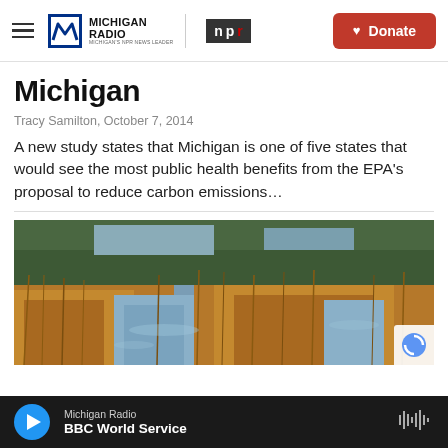Michigan Radio | NPR | Donate
Michigan
Tracy Samilton,  October 7, 2014
A new study states that Michigan is one of five states that would see the most public health benefits from the EPA's proposal to reduce carbon emissions…
[Figure (photo): Wetlands marsh scene with golden-brown reeds and grasses partially submerged in reflective water, autumn landscape]
Michigan Radio | BBC World Service